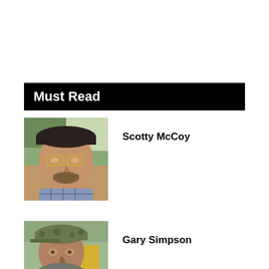Must Read
[Figure (photo): Headshot photo of Scotty McCoy, a middle-aged man wearing glasses and a cap, with a beard, in a plaid shirt outdoors]
Scotty McCoy
[Figure (photo): Headshot photo of Gary Simpson, a man wearing a camouflage cap outdoors]
Gary Simpson